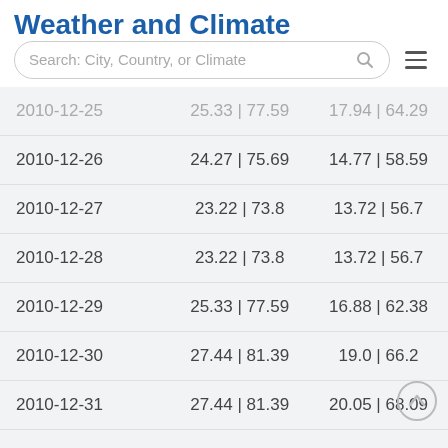Weather and Climate
| Date | Max Temp | Min Temp |
| --- | --- | --- |
| 2010-12-25 | 25.33 | 77.59 | 17.94 | 64.29 |
| 2010-12-26 | 24.27 | 75.69 | 14.77 | 58.59 |
| 2010-12-27 | 23.22 | 73.8 | 13.72 | 56.7 |
| 2010-12-28 | 23.22 | 73.8 | 13.72 | 56.7 |
| 2010-12-29 | 25.33 | 77.59 | 16.88 | 62.38 |
| 2010-12-30 | 27.44 | 81.39 | 19.0 | 66.2 |
| 2010-12-31 | 27.44 | 81.39 | 20.05 | 68.09 |